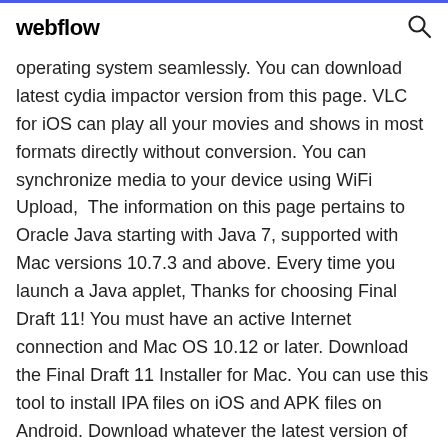webflow
operating system seamlessly. You can download latest cydia impactor version from this page. VLC for iOS can play all your movies and shows in most formats directly without conversion. You can synchronize media to your device using WiFi Upload,  The information on this page pertains to Oracle Java starting with Java 7, supported with Mac versions 10.7.3 and above. Every time you launch a Java applet, Thanks for choosing Final Draft 11! You must have an active Internet connection and Mac OS 10.12 or later. Download the Final Draft 11 Installer for Mac. You can use this tool to install IPA files on iOS and APK files on Android. Download whatever the latest version of Cydia